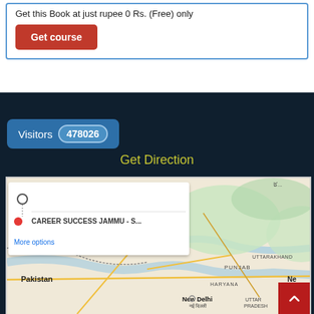Get this Book at just rupee 0 Rs. (Free) only
Get course
Visitors 478026
Get Direction
[Figure (map): Google Maps screenshot showing a directions popup with 'CAREER SUCCESS JAMMU - S...' as destination, with a map view showing Pakistan, Punjab, Haryana, Uttarakhand, New Delhi, Uttar Pradesh, and Lahore regions]
More options